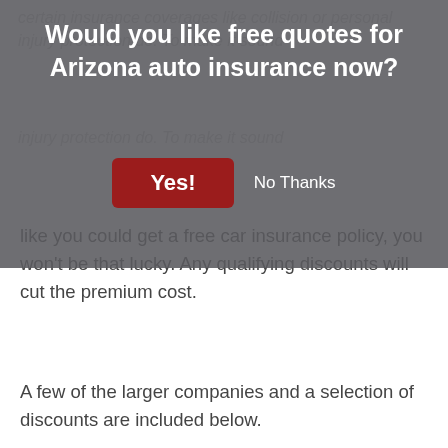[Figure (infographic): Modal dialog overlay asking 'Would you like free quotes for Arizona auto insurance now?' with a red 'Yes!' button and a 'No Thanks' text link, overlaid on top of article text about insurance discounts.]
like you could get a free car insurance policy, you won't be that lucky. Any qualifying discounts will cut the premium cost.
A few of the larger companies and a selection of discounts are included below.
Farm Bureau has discounts for renewal discount, youthful driver, multi-vehicle, safe driver, and driver training.
Liberty Mutual may include discounts for preferred payment discount, good student, new...